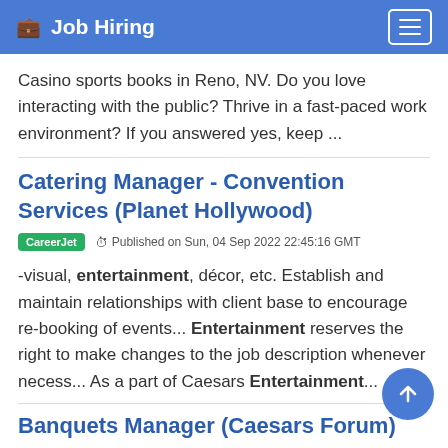Job Hiring
Casino sports books in Reno, NV. Do you love interacting with the public? Thrive in a fast-paced work environment? If you answered yes, keep ...
Catering Manager - Convention Services (Planet Hollywood)
CareerJet  Published on Sun, 04 Sep 2022 22:45:16 GMT
-visual, entertainment, décor, etc. Establish and maintain relationships with client base to encourage re-booking of events... Entertainment reserves the right to make changes to the job description whenever necess... As a part of Caesars Entertainment...
Banquets Manager (Caesars Forum)